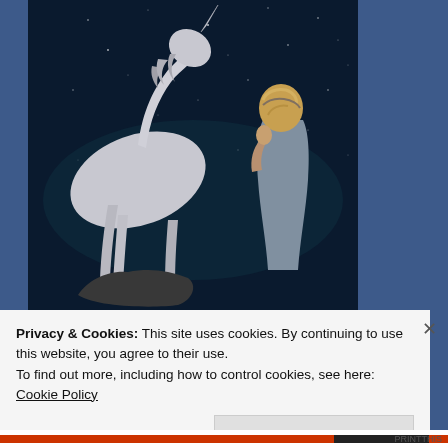[Figure (illustration): Digital fantasy illustration showing a silver/white unicorn rearing up on the left side, facing a young girl with blonde hair seen from behind on the right side. The background is a dark starry night sky.]
Privacy & Cookies: This site uses cookies. By continuing to use this website, you agree to their use.
To find out more, including how to control cookies, see here: Cookie Policy
Close and accept